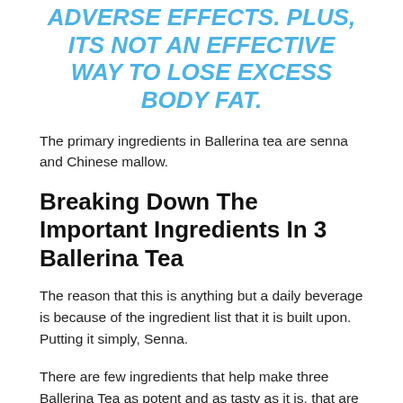ADVERSE EFFECTS. PLUS, ITS NOT AN EFFECTIVE WAY TO LOSE EXCESS BODY FAT.
The primary ingredients in Ballerina tea are senna and Chinese mallow.
Breaking Down The Important Ingredients In 3 Ballerina Tea
The reason that this is anything but a daily beverage is because of the ingredient list that it is built upon. Putting it simply, Senna.
There are few ingredients that help make three Ballerina Tea as potent and as tasty as it is, that are rich in antioxidants